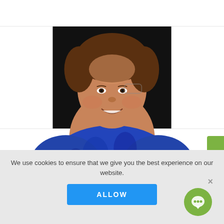[Figure (photo): Headshot of Cody Loveland, a smiling man wearing a blue patterned shirt, photographed against a dark background. Only upper body visible.]
Cody Loveland
Global Social Media Head
Alcon
[Figure (logo): LinkedIn 'in' logo icon]
We use cookies to ensure that we give you the best experience on our website.
ALLOW